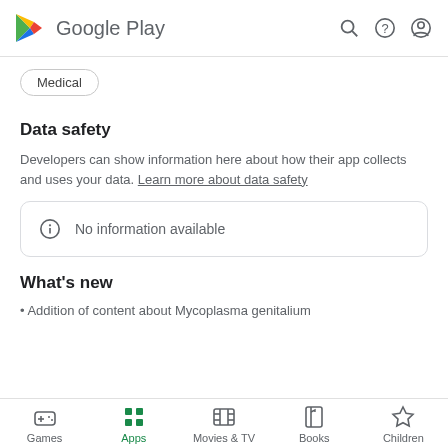Google Play
Medical
Data safety
Developers can show information here about how their app collects and uses your data. Learn more about data safety
No information available
What's new
· Addition of content about Mycoplasma genitalium
Games  Apps  Movies & TV  Books  Children